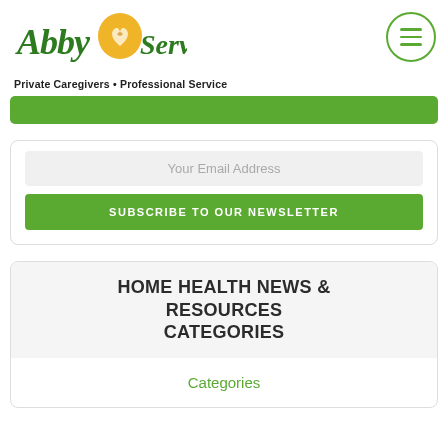[Figure (logo): Abby Services logo with cursive green text and orange/yellow heart icon]
Private Caregivers • Professional Service
[Figure (other): Green call-to-action button bar (partially obscured)]
Your Email Address
SUBSCRIBE TO OUR NEWSLETTER
HOME HEALTH NEWS & RESOURCES CATEGORIES
Categories